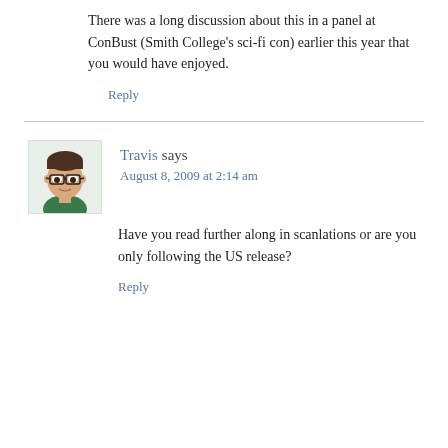There was a long discussion about this in a panel at ConBust (Smith College's sci-fi con) earlier this year that you would have enjoyed.
Reply
[Figure (illustration): Cartoon avatar of a young man with dark hair, glasses, and a green shirt]
Travis says
August 8, 2009 at 2:14 am
Have you read further along in scanlations or are you only following the US release?
Reply